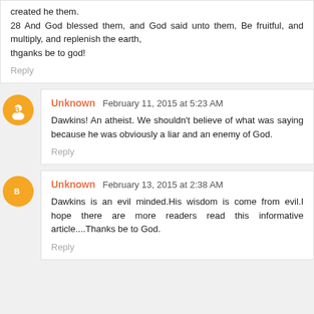created he them.
28 And God blessed them, and God said unto them, Be fruitful, and multiply, and replenish the earth,
thganks be to god!
Reply
Unknown February 11, 2015 at 5:23 AM
Dawkins! An atheist. We shouldn't believe of what was saying because he was obviously a liar and an enemy of God.
Reply
Unknown February 13, 2015 at 2:38 AM
Dawkins is an evil minded.His wisdom is come from evil.I hope there are more readers read this informative article....Thanks be to God.
Reply